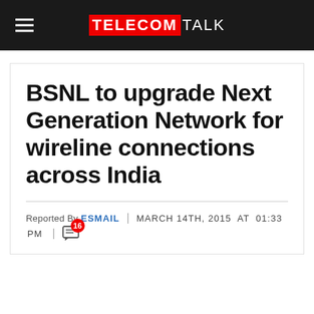TELECOMTALK
BSNL to upgrade Next Generation Network for wireline connections across India
Reported By ESMAIL | MARCH 14TH, 2015 AT 01:33 PM | 16 comments